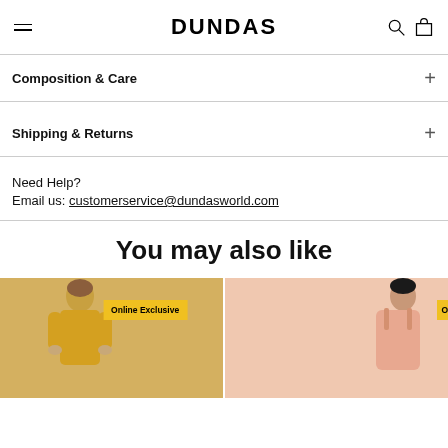DUNDAS
Composition & Care
Shipping & Returns
Need Help?
Email us: customerservice@dundasworld.com
You may also like
[Figure (photo): Two product images side by side. Left card shows a model in a yellow/mustard outfit with an 'Online Exclusive' badge. Right card shows a model in a pink/salmon outfit with a badge partially visible.]